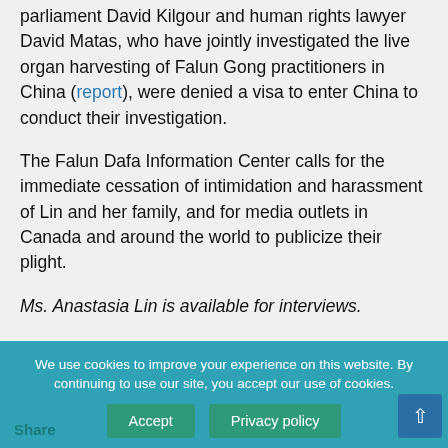Falun Gong. In 2006, former Canadian Member of parliament David Kilgour and human rights lawyer David Matas, who have jointly investigated the live organ harvesting of Falun Gong practitioners in China (report), were denied a visa to enter China to conduct their investigation.
The Falun Dafa Information Center calls for the immediate cessation of intimidation and harassment of Lin and her family, and for media outlets in Canada and around the world to publicize their plight.
Ms. Anastasia Lin is available for interviews.
We use cookies to improve your experience on this website. By continuing to use our site, you accept our use of cookies.
Accept
Privacy policy
Share